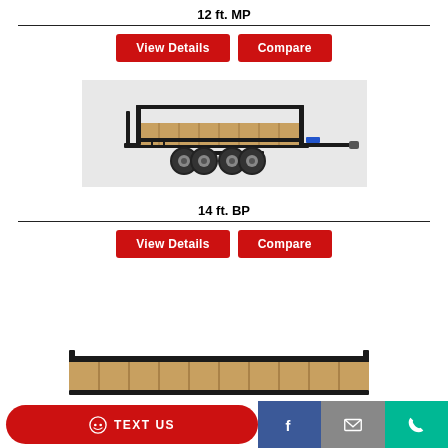12 ft. MP
View Details | Compare
[Figure (photo): Black utility trailer with dual axles, wooden deck floor, and metal rails, shown on a light gray background]
14 ft. BP
View Details | Compare
[Figure (photo): Partial view of a black utility trailer at the bottom of the page]
TEXT US | Facebook | Email | Phone